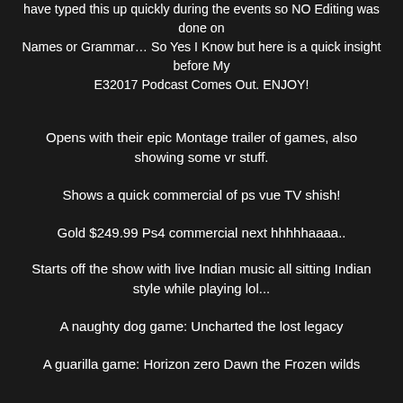have typed this up quickly during the events so NO Editing was done on Names or Grammar… So Yes I Know but here is a quick insight before My E32017 Podcast Comes Out. ENJOY!
Opens with their epic Montage trailer of games, also showing some vr stuff.
Shows a quick commercial of ps vue TV shish!
Gold $249.99 Ps4 commercial next hhhhhaaaa..
Starts off the show with live Indian music all sitting Indian style while playing lol...
A naughty dog game: Uncharted the lost legacy
A guarilla game: Horizon zero Dawn the Frozen wilds